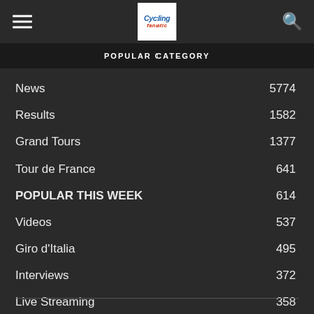Cycling Fanatic — navigation header with hamburger menu, logo, and search icon
POPULAR CATEGORY
News 5774
Results 1582
Grand Tours 1377
Tour de France 641
POPULAR THIS WEEK 614
Videos 537
Giro d'Italia 495
Interviews 372
Live Streaming 358